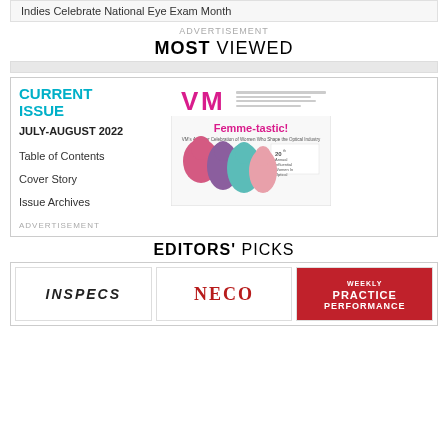Indies Celebrate National Eye Exam Month
ADVERTISEMENT
MOST VIEWED
CURRENT ISSUE
JULY-AUGUST 2022
Table of Contents
Cover Story
Issue Archives
ADVERTISEMENT
[Figure (photo): VM Magazine cover - Femme-tastic! July-August 2022 issue showing colorful silhouettes of women]
EDITORS' PICKS
[Figure (logo): INSPECS logo]
[Figure (logo): NECO logo]
[Figure (logo): Weekly Practice Performance red background logo]